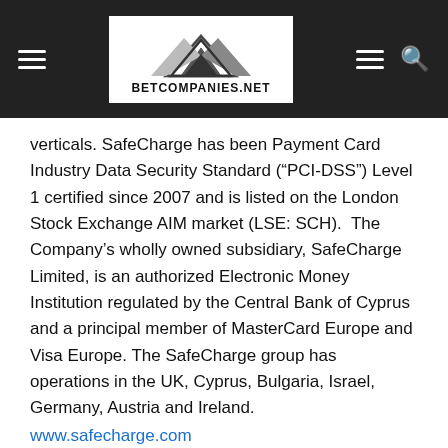[Figure (logo): BetCompanies.net website header with dark background, hamburger menu icons, search icon, and BetCompanies.net logo in the center]
verticals. SafeCharge has been Payment Card Industry Data Security Standard (“PCI-DSS”) Level 1 certified since 2007 and is listed on the London Stock Exchange AIM market (LSE: SCH).  The Company’s wholly owned subsidiary, SafeCharge Limited, is an authorized Electronic Money Institution regulated by the Central Bank of Cyprus and a principal member of MasterCard Europe and Visa Europe. The SafeCharge group has operations in the UK, Cyprus, Bulgaria, Israel, Germany, Austria and Ireland.
www.safecharge.com
About TAIN
TAIN has been around since the beginning of Internet gambling and is a technology driven company that has